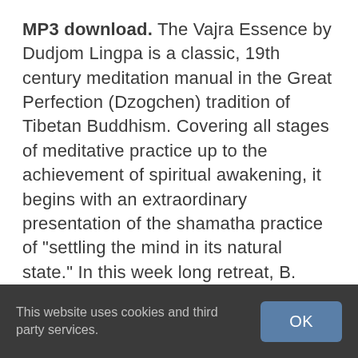MP3 download. The Vajra Essence by Dudjom Lingpa is a classic, 19th century meditation manual in the Great Perfection (Dzogchen) tradition of Tibetan Buddhism. Covering all stages of meditative practice up to the achievement of spiritual awakening, it begins with an extraordinary presentation of the shamatha practice of "settling the mind in its natural state." In this week long retreat, B. Alan Wallace offers an oral commentary the shamatha section of The Vajra Essence, which he received from his teacher, the Ven.
This website uses cookies and third party services.